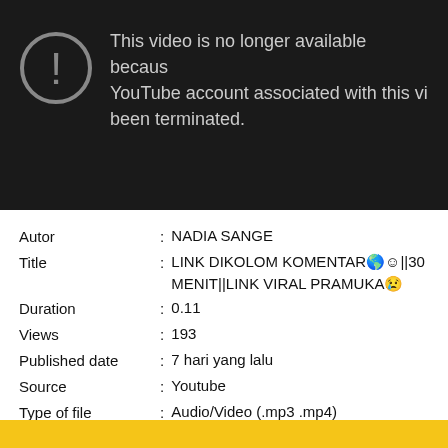[Figure (screenshot): YouTube error screen with warning icon and text: This video is no longer available because the YouTube account associated with this video has been terminated.]
| Autor | : | NADIA SANGE |
| Title | : | LINK DIKOLOM KOMENTAR🌐😊||30 MENIT||LINK VIRAL PRAMUKA😢 |
| Duration | : | 0.11 |
| Views | : | 193 |
| Published date | : | 7 hari yang lalu |
| Source | : | Youtube |
| Type of file | : | Audio/Video (.mp3 .mp4) |
Description of video: LINK DIKOLOM KOMENTAR #tag #linkviral #viral #virallinkmediafire #pramukviral #linkpramukviral #pramukaviral30menit ...